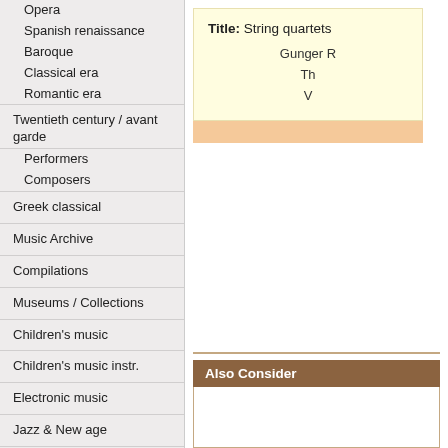Opera
Spanish renaissance
Baroque
Classical era
Romantic era
Twentieth century / avant garde
Performers
Composers
Greek classical
Music Archive
Compilations
Museums / Collections
Children's music
Children's music instr.
Electronic music
Jazz & New age
Tango/Valse
DVD
CD boxes
CD offers
Vinyl
Title: String quartets
Gunger R
Th
V
Also Consider